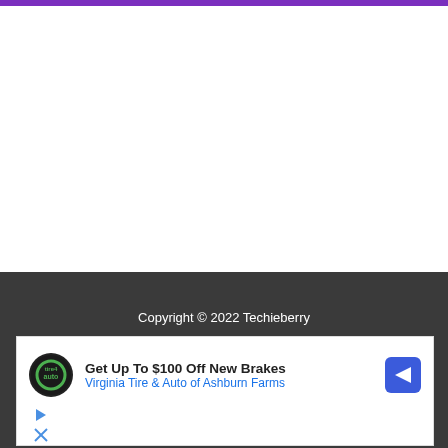Copyright © 2022 Techieberry
Privacy Policy
[Figure (other): Advertisement: Get Up To $100 Off New Brakes — Virginia Tire & Auto of Ashburn Farms, with tire logo and directional arrow icon]